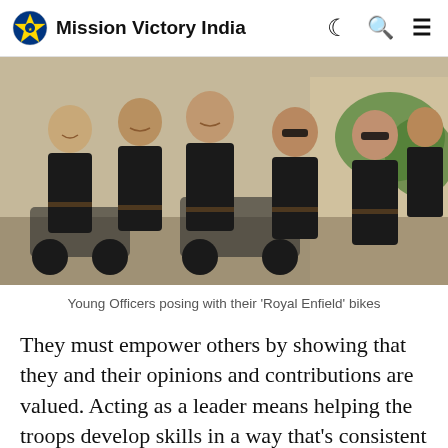Mission Victory India
[Figure (photo): Group of young military officers in black uniforms posing with Royal Enfield motorcycles outdoors]
Young Officers posing with their 'Royal Enfield' bikes
They must empower others by showing that they and their opinions and contributions are valued. Acting as a leader means helping the troops develop skills in a way that's consistent